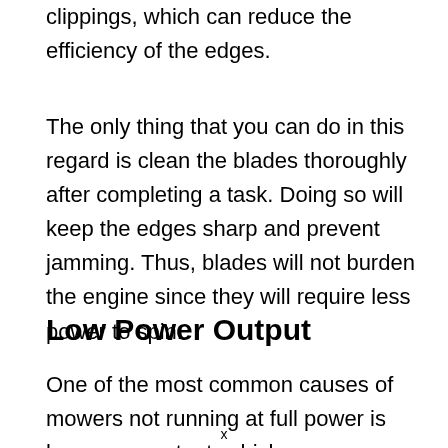clippings, which can reduce the efficiency of the edges.
The only thing that you can do in this regard is clean the blades thoroughly after completing a task. Doing so will keep the edges sharp and prevent jamming. Thus, blades will not burden the engine since they will require less power to spin.
Low Power Output
One of the most common causes of mowers not running at full power is low power output, which